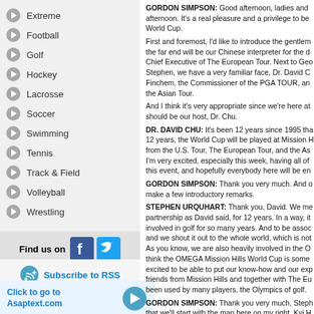Extreme
Football
Golf
Hockey
Lacrosse
Soccer
Swimming
Tennis
Track & Field
Volleyball
Wrestling
Find us on
Subscribe to RSS
Click to go to Asaptext.com
GORDON SIMPSON: Good afternoon, ladies and afternoon. It's a real pleasure and a privilege to be World Cup. First and foremost, I'd like to introduce the gentlem the far end will be our Chinese interpreter for the d Chief Executive of The European Tour. Next to Geo Stephen, we have a very familiar face, Dr. David C Finchem, the Commissioner of the PGA TOUR, an the Asian Tour. And I think it's very appropriate since we're here at should be our host, Dr. Chu. DR. DAVID CHU: It's been 12 years since 1995 tha 12 years, the World Cup will be played at Mission H from the U.S. Tour, The European Tour, and the As I'm very excited, especially this week, having all of this event, and hopefully everybody here will be en GORDON SIMPSON: Thank you very much. And o make a few introductory remarks. STEPHEN URQUHART: Thank you, David. We me partnership as David said, for 12 years. In a way, it involved in golf for so many years. And to be assoc and we shout it out to the whole world, which is not As you know, we are also heavily involved in the O think the OMEGA Mission Hills World Cup is some excited to be able to put our know-how and our exp friends from Mission Hills and together with The Eu been used by many players, the Olympics of golf. GORDON SIMPSON: Thank you very much, Steph that we'll start with the man here on my right, Kyi H KYI HLA HAN: On behalf of the Asian Tour, I think i of the OMEGA Mission Hills World Cup here at Mis in Asia, and also Mission Hills has been a big supp their partnership. I can see this tournament becoming a very big eve representing their country, and for the next 12 year GORDON SIMPSON: And Commissioner Finchem, COMMISSIONER TIM FINCHEM: Yes, thank you